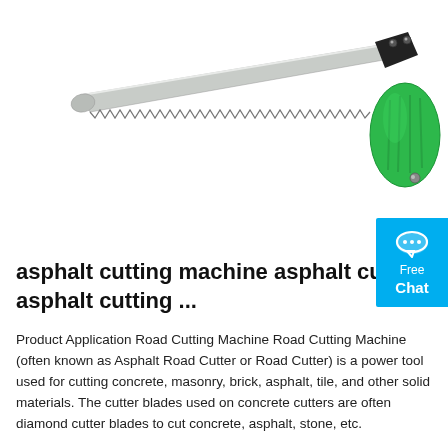[Figure (photo): A hand saw with a long serrated silver blade and a green and black ergonomic handle, positioned diagonally across a white background.]
asphalt cutting machine asphalt cutter, asphalt cutting ...
Product Application Road Cutting Machine Road Cutting Machine (often known as Asphalt Road Cutter or Road Cutter) is a power tool used for cutting concrete, masonry, brick, asphalt, tile, and other solid materials. The cutter blades used on concrete cutters are often diamond cutter blades to cut concrete, asphalt, stone, etc.